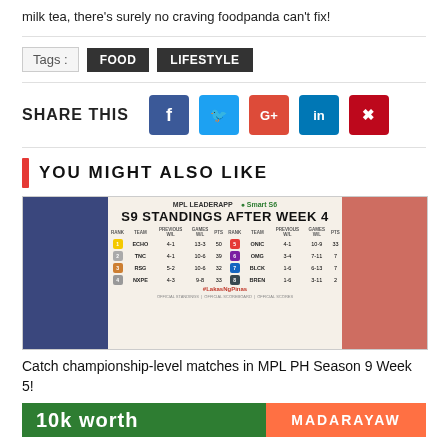milk tea, there's surely no craving foodpanda can't fix!
Tags: FOOD LIFESTYLE
SHARE THIS
YOU MIGHT ALSO LIKE
[Figure (screenshot): MPL PH S9 Standings after Week 4 showing team rankings: ECHO, TNC, RSG, NXPE, ONIC, OMG, BLCK, BREN]
Catch championship-level matches in MPL PH Season 9 Week 5!
[Figure (screenshot): Banner showing '10k worth MADARAYAW']